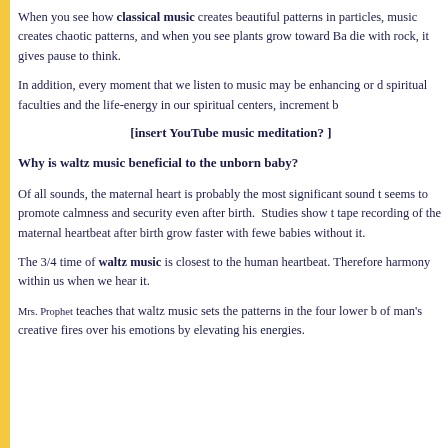When you see how classical music creates beautiful patterns in particles, heavy metal music creates chaotic patterns, and when you see plants grow toward Bach and die with rock, it gives pause to think.
In addition, every moment that we listen to music may be enhancing or d... spiritual faculties and the life-energy in our spiritual centers, increment b...
[insert YouTube music meditation? ]
Why is waltz music beneficial to the unborn baby?
Of all sounds, the maternal heart is probably the most significant sound t... seems to promote calmness and security even after birth. Studies show t... tape recording of the maternal heartbeat after birth grow faster with fewe... babies without it.
The 3/4 time of waltz music is closest to the human heartbeat. Therefore... harmony within us when we hear it.
Mrs. Prophet teaches that waltz music sets the patterns in the four lower b... of man's creative fires over his emotions by elevating his energies.